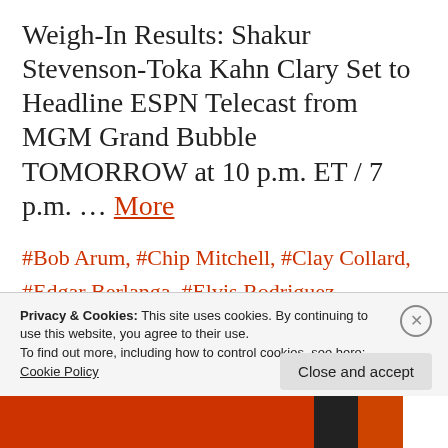Weigh-In Results: Shakur Stevenson-Toka Kahn Clary Set to Headline ESPN Telecast from MGM Grand Bubble TOMORROW at 10 p.m. ET / 7 p.m. … More
#Bob Arum, #Chip Mitchell, #Clay Collard, #Edgar Berlanga, #Elvis Rodriguez, #ESPN+, #Felix Verdejo, #Masayoshi Nakatani
Privacy & Cookies: This site uses cookies. By continuing to use this website, you agree to their use. To find out more, including how to control cookies, see here: Cookie Policy